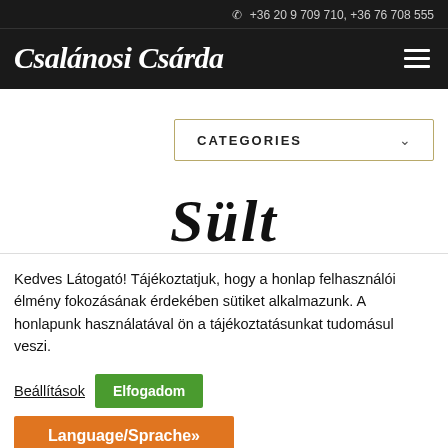+36 20 9 709 710, +36 76 708 555
Csalánosi Csárda
[Figure (other): CATEGORIES dropdown button with chevron]
Sült
Kedves Látogató! Tájékoztatjuk, hogy a honlap felhasználói élmény fokozásának érdekében sütiket alkalmazunk. A honlapunk használatával ön a tájékoztatásunkat tudomásul veszi.
Beállítások
Elfogadom
Language/Sprache»